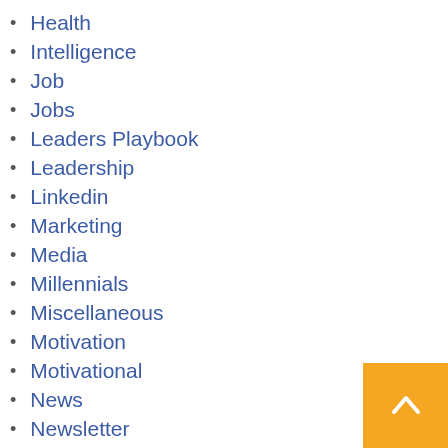Health
Intelligence
Job
Jobs
Leaders Playbook
Leadership
Linkedin
Marketing
Media
Millennials
Miscellaneous
Motivation
Motivational
News
Newsletter
Online education